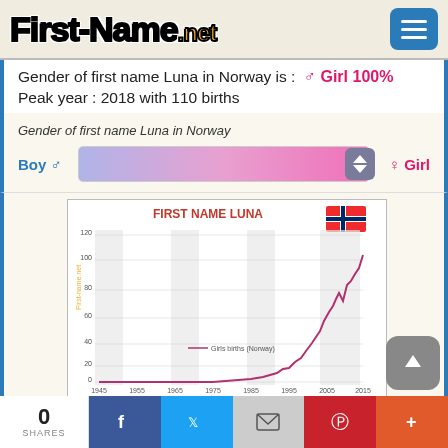First-Name.net
Gender of first name Luna in Norway is : Girl 100%
Peak year : 2018 with 110 births
[Figure (infographic): Gender bar showing Boy on left and Girl on right, with gradient bar skewed fully toward Girl]
[Figure (line-chart): FIRST NAME LUNA]
0 SHARES  Facebook  Twitter  Email  Pinterest  Plus